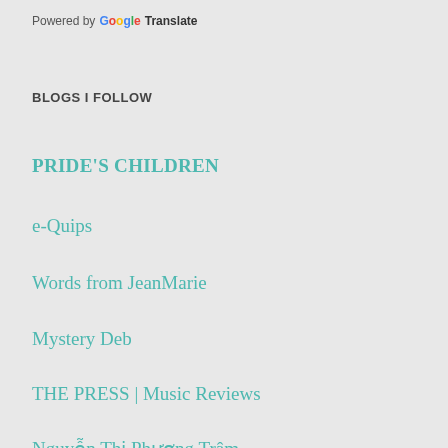Powered by Google Translate
BLOGS I FOLLOW
PRIDE'S CHILDREN
e-Quips
Words from JeanMarie
Mystery Deb
THE PRESS | Music Reviews
Nguyễn Thị Phương Trâm